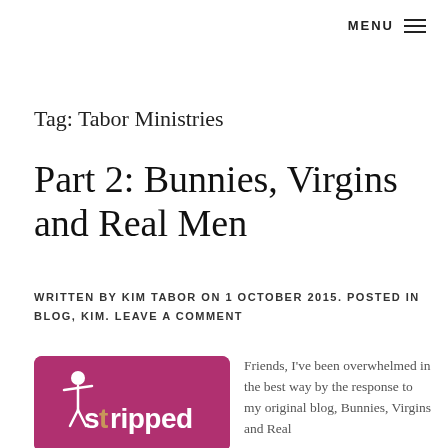MENU ≡
Tag: Tabor Ministries
Part 2: Bunnies, Virgins and Real Men
WRITTEN BY KIM TABOR ON 1 OCTOBER 2015. POSTED IN BLOG, KIM. LEAVE A COMMENT
[Figure (logo): Stripped book logo — pink/magenta rounded rectangle with white stylized figure and white text 'stripped']
Friends, I've been overwhelmed in the best way by the response to my original blog, Bunnies, Virgins and Real